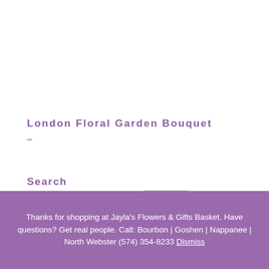London Floral Garden Bouquet
–
Search
Search products... Search
Thanks for shopping at Jayla's Flowers & Gifts Basket. Have questions? Get real people. Call: Bourbon | Goshen | Nappanee | North Webster (574) 354-8233 Dismiss